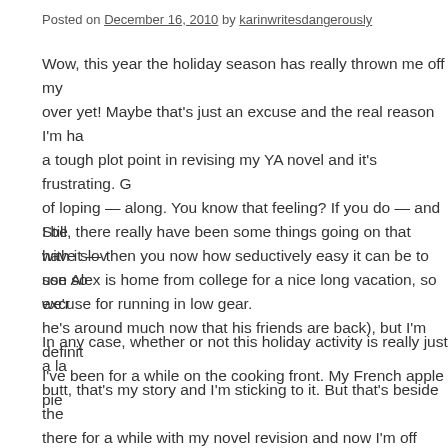Posted on December 16, 2010 by karinwritesdangerously
Wow, this year the holiday season has really thrown me off my over yet! Maybe that's just an excuse and the real reason I'm ha a tough plot point in revising my YA novel and it's frustrating. G of loping — along. You know that feeling? If you do — and I be with it — then you now how seductively easy it can be to use so excuse for running in low gear.
Still, there really have been some things going on that have slov son Alex is home from college for a nice long vacation, so we'r he's around much now that his friends are back), but I'm definit I've been for a while on the cooking front. My French apple pie
In any case, whether or not this holiday activity is really just a la butt, that's my story and I'm sticking to it. But that's beside the there for a while with my novel revision and now I'm off track a in my groove.